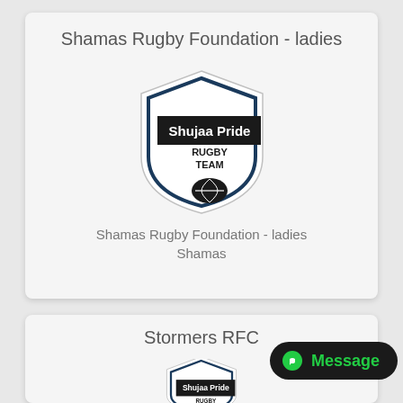Shamas Rugby Foundation - ladies
[Figure (logo): Shujaa Pride Rugby Team shield logo with rugby ball]
Shamas Rugby Foundation - ladies
Shamas
Stormers RFC
[Figure (logo): Shujaa Pride Rugby Team shield logo (partially visible)]
[Figure (screenshot): Message overlay button with green circle icon]